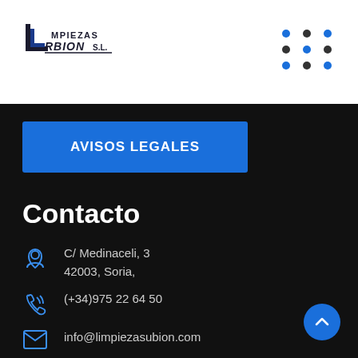[Figure (logo): Limpiezas Urbion S.L. company logo with stylized U/L letterform and text]
[Figure (other): 3x3 grid of blue and black dots decorative element]
AVISOS LEGALES
Contacto
C/ Medinaceli, 3
42003, Soria,
(+34)975 22 64 50
info@limpiezasubion.com
08:00 - 16:00